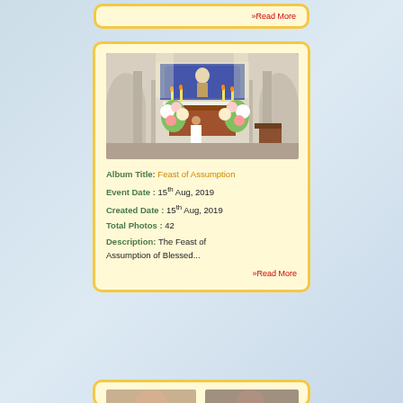»Read More
[Figure (photo): Interior of a church with decorated altar, flowers, candles, and religious imagery]
Album Title: Feast of Assumption
Event Date : 15th Aug, 2019
Created Date : 15th Aug, 2019
Total Photos : 42
Description: The Feast of Assumption of Blessed...
»Read More
[Figure (photo): Partial view of another photo album card at the bottom]